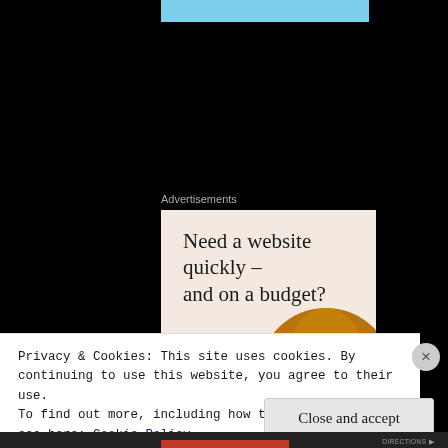[Figure (illustration): Advertisement banner with beige background showing text 'Need a website quickly – and on a budget?' and 'Let us build it for you' with a 'Let's get started' button and a circular photo of hands on a device]
Privacy & Cookies: This site uses cookies. By continuing to use this website, you agree to their use.
To find out more, including how to control cookies, see here: Cookie Policy
Close and accept